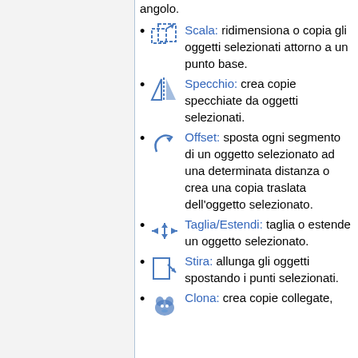angolo.
Scala: ridimensiona o copia gli oggetti selezionati attorno a un punto base.
Specchio: crea copie specchiate da oggetti selezionati.
Offset: sposta ogni segmento di un oggetto selezionato ad una determinata distanza o crea una copia traslata dell'oggetto selezionato.
Taglia/Estendi: taglia o estende un oggetto selezionato.
Stira: allunga gli oggetti spostando i punti selezionati.
Clona: crea copie collegate,